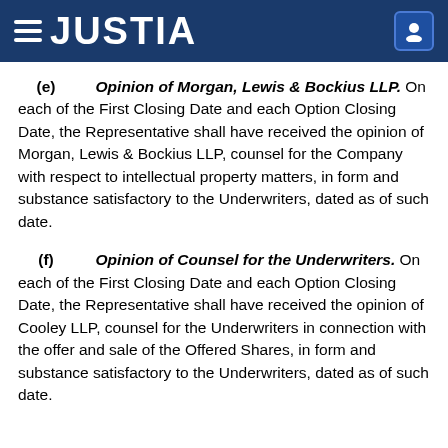JUSTIA
(e) Opinion of Morgan, Lewis & Bockius LLP. On each of the First Closing Date and each Option Closing Date, the Representative shall have received the opinion of Morgan, Lewis & Bockius LLP, counsel for the Company with respect to intellectual property matters, in form and substance satisfactory to the Underwriters, dated as of such date.
(f) Opinion of Counsel for the Underwriters. On each of the First Closing Date and each Option Closing Date, the Representative shall have received the opinion of Cooley LLP, counsel for the Underwriters in connection with the offer and sale of the Offered Shares, in form and substance satisfactory to the Underwriters, dated as of such date.